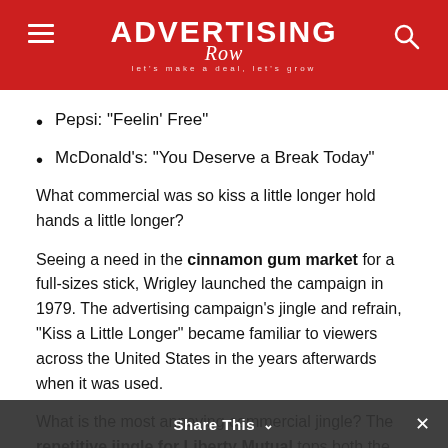ADVERTISING Row — let's make a deal, let's grow
Pepsi: “Feelin’ Free”
McDonald’s: “You Deserve a Break Today”
What commercial was so kiss a little longer hold hands a little longer?
Seeing a need in the cinnamon gum market for a full-sizes stick, Wrigley launched the campaign in 1979. The advertising campaign’s jingle and refrain, “Kiss a Little Longer” became familiar to viewers across the United States in the years afterwards when it was used.
What is the most annoying commercial jingle? The repetitive jingle for Liberty Mutual tops both the most hated and the
Share This